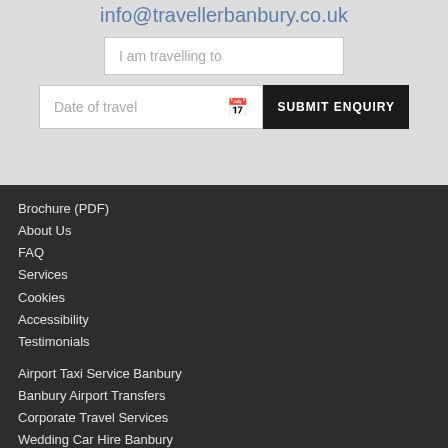info@travellerbanbury.co.uk
I am travelling to
Date of travel
SUBMIT ENQUIRY
Brochure (PDF)
About Us
FAQ
Services
Cookies
Accessibility
Testimonials
Airport Taxi Service Banbury
Banbury Airport Transfers
Corporate Travel Services
Wedding Car Hire Banbury
Banbury to Heathrow Taxi
Banbury to Gatwick Taxi